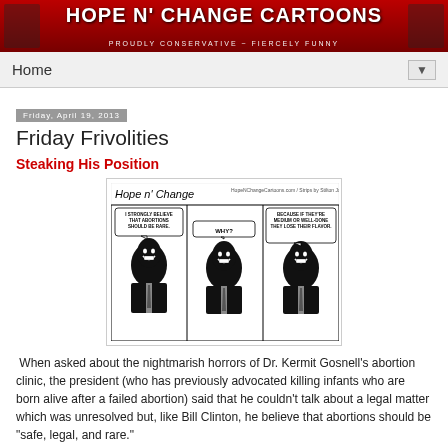HOPE N' CHANGE CARTOONS — PROUDLY CONSERVATIVE ~ FIERCELY FUNNY
Home ▼
Friday, April 19, 2013
Friday Frivolities
Steaking His Position
[Figure (illustration): Hope n' Change cartoon strip with three panels showing a smiling Obama figure. Panel 1: speech bubble says 'I STRONGLY BELIEVE THAT ABORTIONS SHOULD BE RARE.' Panel 2: speech bubble says 'WHY?' Panel 3: speech bubble says 'BECAUSE IF THEY'RE MEDIUM OR WELL-DONE THEY LOSE THEIR FLAVOR.']
When asked about the nightmarish horrors of Dr. Kermit Gosnell's abortion clinic, the president (who has previously advocated killing infants who are born alive after a failed abortion) said that he couldn't talk about a legal matter which was unresolved but, like Bill Clinton, he believe that abortions should be "safe, legal, and rare."
Hope n' Change was baffled by what meaning of 'rare' he...